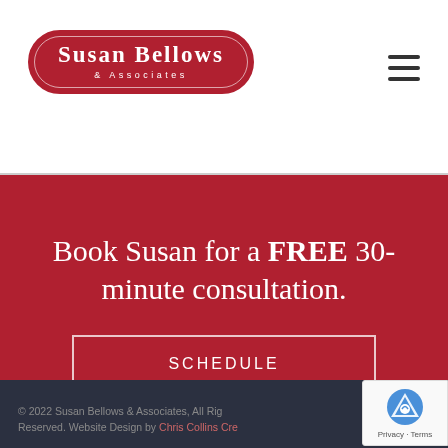[Figure (logo): Susan Bellows & Associates logo — red pill-shaped border with white serif text]
Book Susan for a FREE 30-minute consultation.
SCHEDULE
© 2022 Susan Bellows & Associates, All Rights Reserved. Website Design by Chris Collins Creative